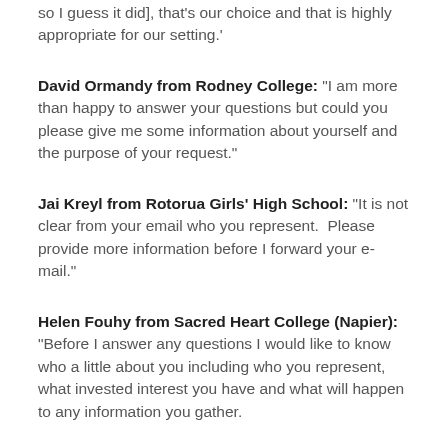so I guess it did], that's our choice and that is highly appropriate for our setting.'
David Ormandy from Rodney College: “I am more than happy to answer your questions but could you please give me some information about yourself and the purpose of your request.”
Jai Kreyl from Rotorua Girls’ High School: “It is not clear from your email who you represent.  Please provide more information before I forward your e-mail.”
Helen Fouhy from Sacred Heart College (Napier): “Before I answer any questions I would like to know who a little about you including who you represent, what invested interest you have and what will happen to any information you gather.